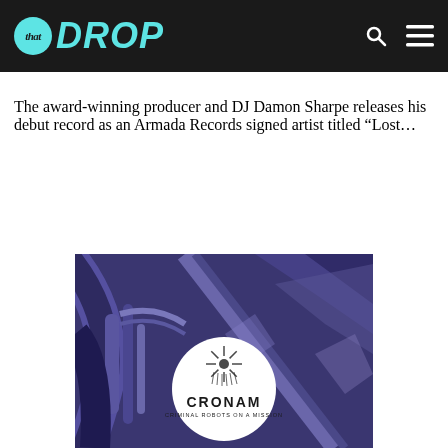that DROP
The award-winning producer and DJ Damon Sharpe releases his debut record as an Armada Records signed artist titled “Lost…
[Figure (illustration): Album artwork showing a dark purple/indigo mechanical/robotic illustration with a white circular logo in the center reading CRONAM with subtitle CRIMINAL ROBOTS ON A MISSION and a stylized sun/burst logo above the text]